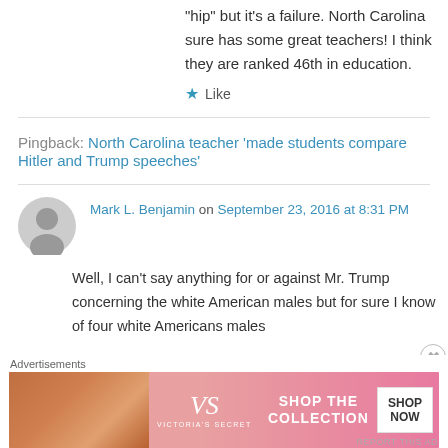"hip" but it's a failure. North Carolina sure has some great teachers! I think they are ranked 46th in education.
★ Like
Pingback: North Carolina teacher 'made students compare Hitler and Trump speeches'
Mark L. Benjamin on September 23, 2016 at 8:31 PM
Well, I can't say anything for or against Mr. Trump concerning the white American males but for sure I know of four white Americans males
[Figure (advertisement): Victoria's Secret advertisement banner with pink background showing 'SHOP THE COLLECTION' and 'SHOP NOW' button]